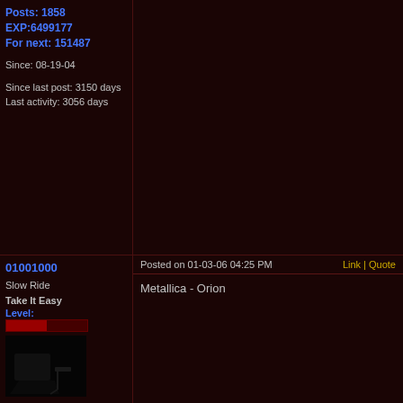Posts: 1858
EXP:6499177
For next: 151487

Since: 08-19-04

Since last post: 3150 days
Last activity: 3056 days
NUCKLEARKNIGHT
Posted on 01-01-06 04:52 PM
Link | Quote
Marco
Level:
Posts: 577
EXP:1114406
For next:42713

Since: 12-17-04
From: Petaluma, California

Since last post: 5097 days
Last activity: 4690 days
Revenga-S.O.A.D.
01001000
Slow Ride
Take It Easy
Level:
Posted on 01-03-06 04:25 PM
Link | Quote
Metallica - Orion